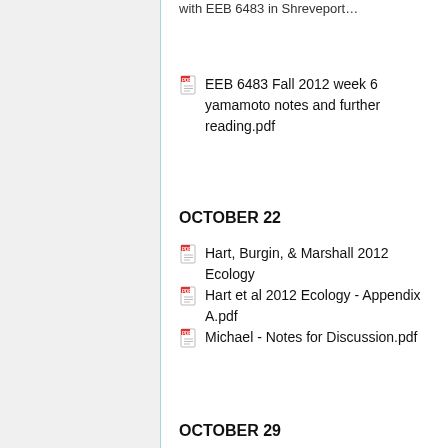with EEB 6483 in Shreveport…
EEB 6483 Fall 2012 week 6 yamamoto notes and further reading.pdf
OCTOBER 22
Hart, Burgin, & Marshall 2012 Ecology
Hart et al 2012 Ecology - Appendix A.pdf
Michael - Notes for Discussion.pdf
OCTOBER 29
berdan&fuller 2012.pdf